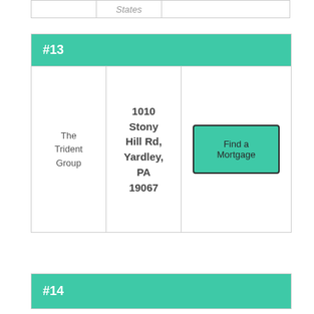|  | States |  |
| --- | --- | --- |
|  |  |  |
| #13 |  |  |  |
| --- | --- | --- | --- |
| The Trident Group | 1010 Stony Hill Rd, Yardley, PA 19067 | Find a Mortgage |
| #14 |
| --- |